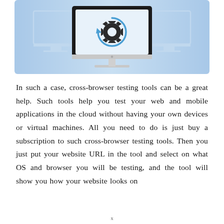[Figure (illustration): A computer monitor illustration on a light blue gradient background. The monitor screen shows a gear/settings icon with circular arrows, suggesting cross-browser testing or software configuration. Behind the monitor are faint outlines of two other screens/devices.]
In such a case, cross-browser testing tools can be a great help. Such tools help you test your web and mobile applications in the cloud without having your own devices or virtual machines. All you need to do is just buy a subscription to such cross-browser testing tools. Then you just put your website URL in the tool and select on what OS and browser you will be testing, and the tool will show you how your website looks on
x